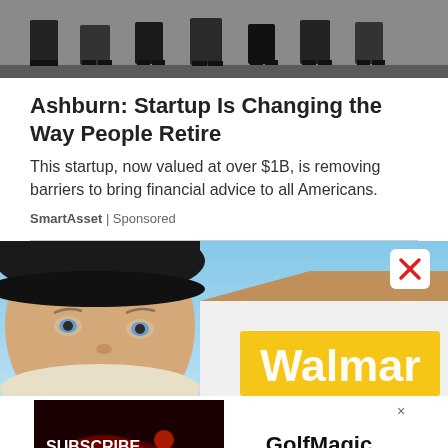[Figure (photo): A group of people standing in a row, lower bodies visible, in front of a brick wall background]
Ashburn: Startup Is Changing the Way People Retire
This startup, now valued at over $1B, is removing barriers to bring financial advice to all Americans.
SmartAsset | Sponsored
[Figure (photo): A woman wearing a black hat close-up with a Walmart store sign in the background. A white close button with a red X appears in the top right corner.]
[Figure (screenshot): GolfMagic advertisement banner: left side has dark red background with 'SUBSCRIBE TO GOLFMAGIC' text, right side shows 'GolfMagic' brand name and YouTube logo button. A Privacy Manager button appears at bottom right.]